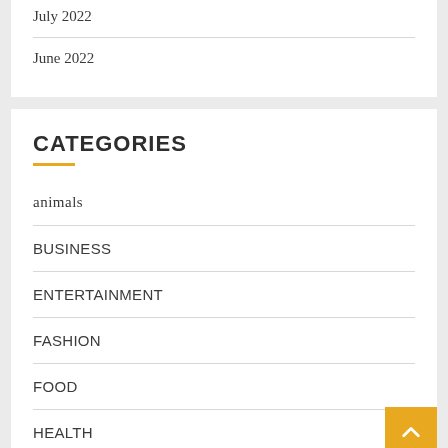July 2022
June 2022
CATEGORIES
animals
BUSINESS
ENTERTAINMENT
FASHION
FOOD
HEALTH